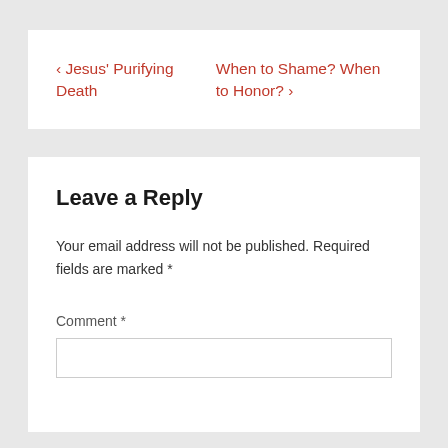‹ Jesus' Purifying Death
When to Shame? When to Honor? ›
Leave a Reply
Your email address will not be published. Required fields are marked *
Comment *